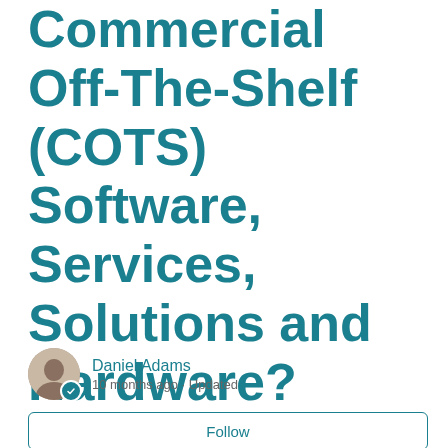Commercial Off-The-Shelf (COTS) Software, Services, Solutions and Hardware?
Daniel Adams
10 months ago · Updated
Follow